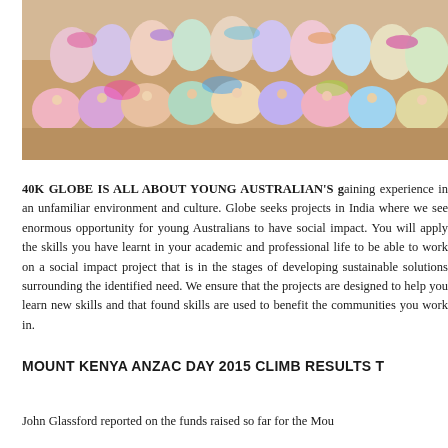[Figure (photo): Group photo of young people covered in colorful powder paint, sitting and standing on sandy ground, smiling at the camera. Appears to be a Holi festival celebration.]
40K GLOBE IS ALL ABOUT YOUNG AUSTRALIAN'S gaining experience in an unfamiliar environment and culture. Globe seeks projects in India where we see enormous opportunity for young Australians to have social impact. You will apply the skills you have learnt in your academic and professional life to be able to work on a social impact project that is in the stages of developing sustainable solutions surrounding the identified need. We ensure that the projects are designed to help you learn new skills and that found skills are used to benefit the communities you work in.
MOUNT KENYA ANZAC DAY 2015 CLIMB RESULTS T
John Glassford reported on the funds raised so far for the Mou